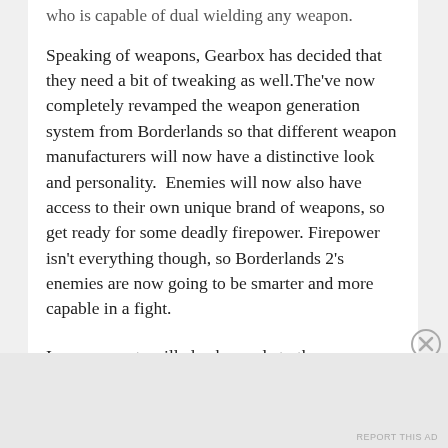who is capable of dual wielding any weapon.
Speaking of weapons, Gearbox has decided that they need a bit of tweaking as well.The've now completely revamped the weapon generation system from Borderlands so that different weapon manufacturers will now have a distinctive look and personality.  Enemies will now also have access to their own unique brand of weapons, so get ready for some deadly firepower. Firepower isn't everything though, so Borderlands 2's enemies are now going to be smarter and more capable in a fight.
Improvements will also be made to the games general interactions with NPC's and quests. Friendly NPC's will now actually be capable of speech and will
Advertisements